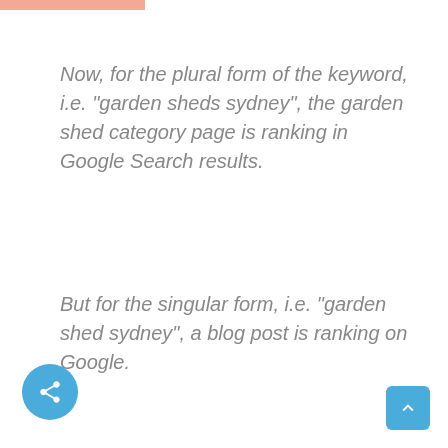Now, for the plural form of the keyword, i.e. “garden sheds sydney”, the garden shed category page is ranking in Google Search results.
But for the singular form, i.e. “garden shed sydney”, a blog post is ranking on Google.